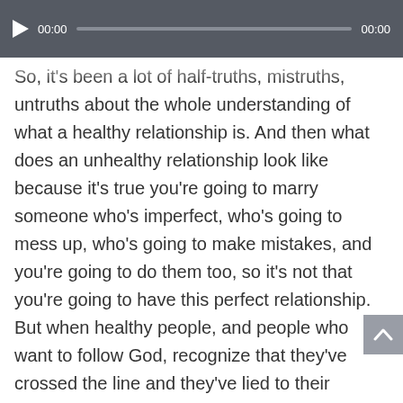[Figure (screenshot): Audio player bar with play button, timestamp 00:00, progress track, and end time 00:00 on dark gray background]
So, it's been a lot of half-truths, mistruths, untruths about the whole understanding of what a healthy relationship is. And then what does an unhealthy relationship look like because it's true you're going to marry someone who's imperfect, who's going to mess up, who's going to make mistakes, and you're going to do them too, so it's not that you're going to have this perfect relationship. But when healthy people, and people who want to follow God, recognize that they've crossed the line and they've lied to their partner or they've said ugly things or they've done something that really has broken trust in the relationship they take ownership of that, and they begin to